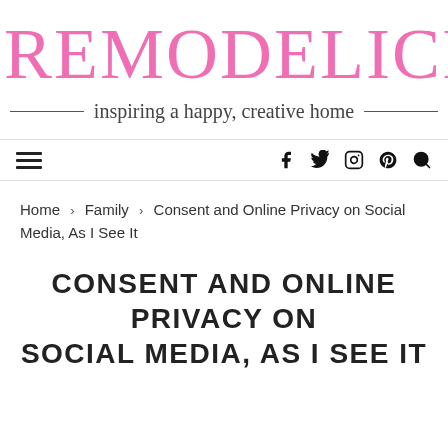REMODELICIOUS
inspiring a happy, creative home
≡   f  Twitter  Instagram  Pinterest  Search
Home > Family > Consent and Online Privacy on Social Media, As I See It
CONSENT AND ONLINE PRIVACY ON SOCIAL MEDIA, AS I SEE IT